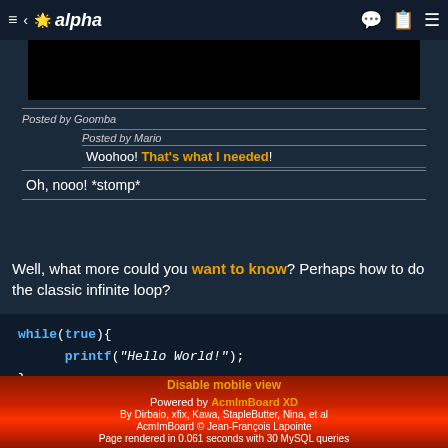≡ < 🌟 alpha
[Figure (screenshot): Black image/media area below navigation bar]
Posted by Goomba
Posted by Mario
Woohoo! That's what I needed!
Oh, nooo! *stomp*
Well, what more could you want to know? Perhaps how to do the classic infinite loop?
Disable mobile view
Powered by AcmImBoard XD
By Dirbaio, xfix, Kawa, StapleButter, Nina, et al
AcmImBoard © Jean-François Lapointe
Page rendered in 0.061 seconds with 30 MySQL queries